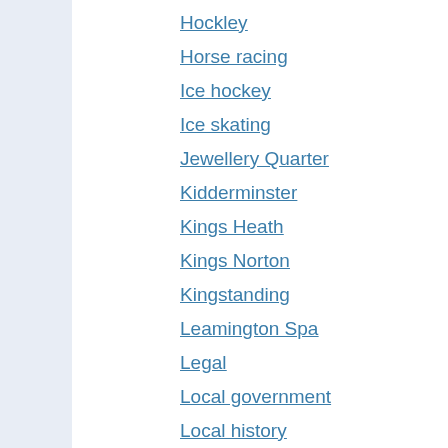Hockley
Horse racing
Ice hockey
Ice skating
Jewellery Quarter
Kidderminster
Kings Heath
Kings Norton
Kingstanding
Leamington Spa
Legal
Local government
Local history
Longbridge
Lozells
Manufacturing